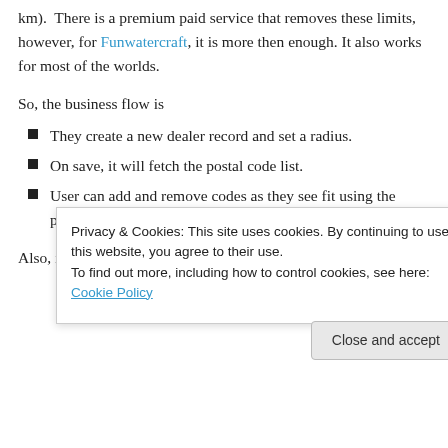km).  There is a premium paid service that removes these limits, however, for Funwatercraft, it is more then enough. It also works for most of the worlds.
So, the business flow is
They create a new dealer record and set a radius.
On save, it will fetch the postal code list.
User can add and remove codes as they see fit using the previous mentioned web tools.
Also, in the master search, I added code that will
Privacy & Cookies: This site uses cookies. By continuing to use this website, you agree to their use.
To find out more, including how to control cookies, see here: Cookie Policy